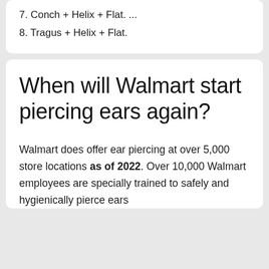7. Conch + Helix + Flat. ...
8. Tragus + Helix + Flat.
When will Walmart start piercing ears again?
Walmart does offer ear piercing at over 5,000 store locations as of 2022. Over 10,000 Walmart employees are specially trained to safely and hygienically pierce ears